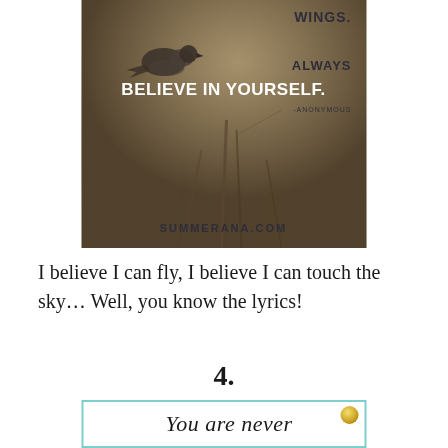[Figure (photo): A bird perched on a branch with a motivational quote overlay: 'WINGS. ALWAYS BELIEVE IN YOURSELF. -ANONYMOUS' and watermark 'SUMMERANA.COM']
I believe I can fly, I believe I can touch the sky… Well, you know the lyrics!
4.
[Figure (illustration): A quote card with teal/cyan border showing cursive text 'You are never' with a gold dot decoration in the top-right corner]